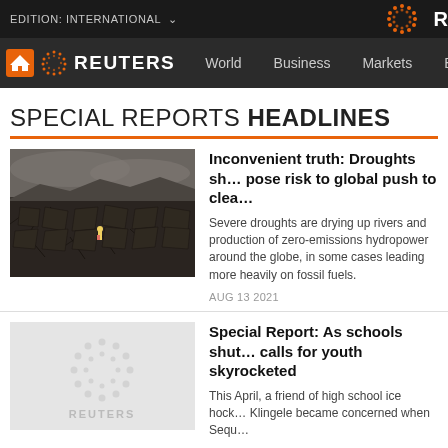EDITION: INTERNATIONAL
REUTERS  World  Business  Markets  Breakingviews  Tech
SPECIAL REPORTS HEADLINES
[Figure (photo): Aerial view of a severe drought landscape with cracked dry earth, a small figure visible, surrounded by barren hills]
Inconvenient truth: Droughts show pose risk to global push to clean
Severe droughts are drying up rivers and production of zero-emissions hydropower around the globe, in some cases leading more heavily on fossil fuels.
AUG 13 2021
[Figure (logo): Reuters logo watermark on light grey background]
Special Report: As schools shut, calls for youth skyrocketed
This April, a friend of high school ice hock Klingele became concerned when Sequo